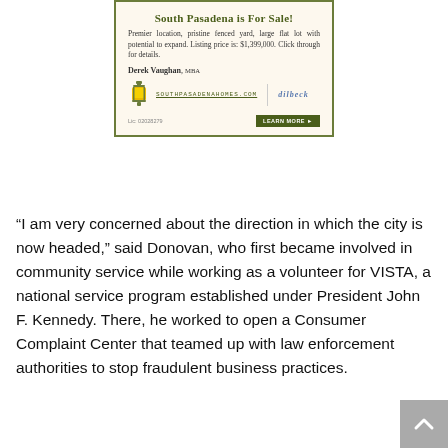[Figure (infographic): Real estate advertisement for a property in South Pasadena. Cream/beige background with olive green border. Title: 'South Pasadena is For Sale!' Body text: 'Premier location, pristine fenced yard, large flat lot with potential to expand. Listing price is: $1,399,000. Click through for details.' Agent: Derek Vaughan, MBA. Logos: SouthPasadenaHomes.com with lantern icon, and Dilbeck real estate logo. License: Lic: 02028279. Button: LEARN MORE.]
“I am very concerned about the direction in which the city is now headed,” said Donovan, who first became involved in community service while working as a volunteer for VISTA, a national service program established under President John F. Kennedy. There, he worked to open a Consumer Complaint Center that teamed up with law enforcement authorities to stop fraudulent business practices.